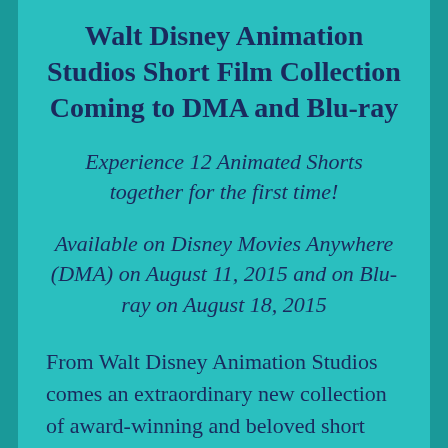Walt Disney Animation Studios Short Film Collection Coming to DMA and Blu-ray
Experience 12 Animated Shorts together for the first time!
Available on Disney Movies Anywhere (DMA) on August 11, 2015 and on Blu-ray on August 18, 2015
From Walt Disney Animation Studios comes an extraordinary new collection of award-winning and beloved short films featuring Disney's Frozen Fever,